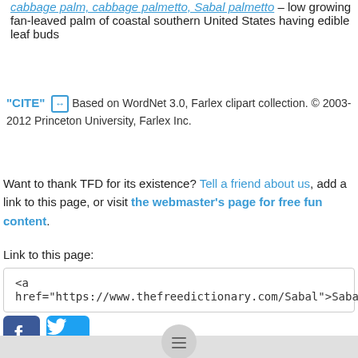cabbage palm, cabbage palmetto, Sabal palmetto – low growing fan-leaved palm of coastal southern United States having edible leaf buds
"CITE" [link icon] Based on WordNet 3.0, Farlex clipart collection. © 2003-2012 Princeton University, Farlex Inc.
Want to thank TFD for its existence? Tell a friend about us, add a link to this page, or visit the webmaster's page for free fun content.
Link to this page:
<a href="https://www.thefreedictionary.com/Sabal">Sabal</a>
[Figure (logo): Facebook logo icon (blue square with white f) and Twitter logo icon (blue bird)]
Bottom navigation bar with hamburger menu button